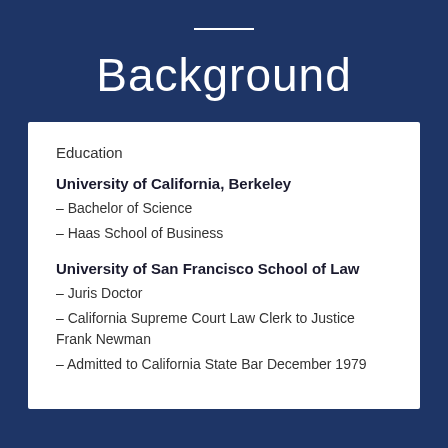Background
Education
University of California, Berkeley
– Bachelor of Science
– Haas School of Business
University of San Francisco School of Law
– Juris Doctor
– California Supreme Court Law Clerk to Justice Frank Newman
– Admitted to California State Bar December 1979